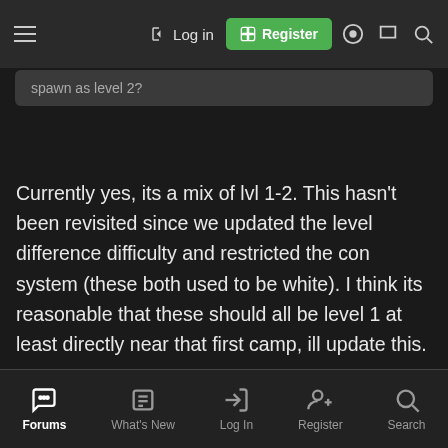Log in | Register
spawn as level 2?
Currently yes, its a mix of lvl 1-2. This hasn't been revisited since we updated the level difference difficulty and restricted the con system (these both used to be white). I think its reasonable that these should all be level 1 at least directly near that first camp, ill update this.
Barrier said: ↑
Is there a way to loot everything from a corpse? like shift click the mob to loot everything off it?
Forums | What's New | Log In | Register | Search